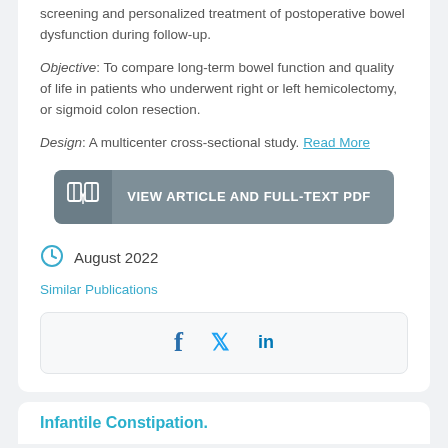screening and personalized treatment of postoperative bowel dysfunction during follow-up.
Objective: To compare long-term bowel function and quality of life in patients who underwent right or left hemicolectomy, or sigmoid colon resection.
Design: A multicenter cross-sectional study. Read More
[Figure (other): Button: VIEW ARTICLE AND FULL-TEXT PDF with book icon]
August 2022
Similar Publications
[Figure (other): Social share icons: Facebook, Twitter, LinkedIn]
Infantile Constipation.